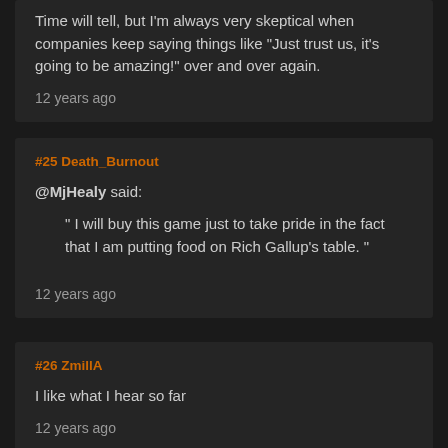Time will tell, but I'm always very skeptical when companies keep saying things like "Just trust us, it's going to be amazing!" over and over again.
12 years ago
#25 Death_Burnout
@MjHealy said:
" I will buy this game just to take pride in the fact that I am putting food on Rich Gallup's table. "
12 years ago
#26 ZmillA
I like what I hear so far
12 years ago